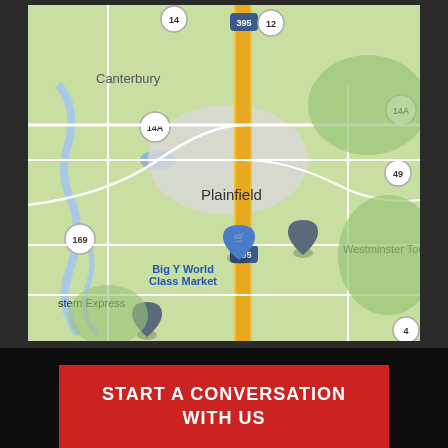[Figure (map): Google Maps screenshot showing Plainfield area in Connecticut, with Route 395 running north-south, Route 14A, Route 14, Route 12, Route 169, Route 49 visible. Shows locations including Canterbury, Plainfield, Big Y World Class Market (with shopping cart pin), Westminster Tool (with location pin), and stern Express (with location pin).]
© Copyright 2007-2022 The Roofing Store, LLC
START A CONVERSATION WITH US